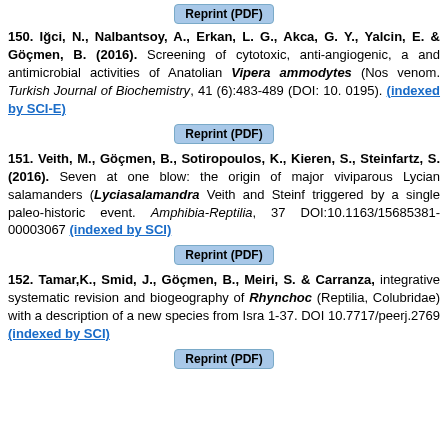[Figure (other): Reprint (PDF) button at top]
150. Iğci, N., Nalbantsoy, A., Erkan, L. G., Akca, G. Y., Yalcin, E. & Göçmen, B. (2016). Screening of cytotoxic, anti-angiogenic, and antimicrobial activities of Anatolian Vipera ammodytes (Nose-horned viper) venom. Turkish Journal of Biochemistry, 41 (6):483-489 (DOI: 10.1515/tjb-2016-0195). (indexed by SCI-E)
[Figure (other): Reprint (PDF) button]
151. Veith, M., Göçmen, B., Sotiropoulos, K., Kieren, S., Steinfartz, S. (2016). Seven at one blow: the origin of major lineages of viviparous Lycian salamanders (Lyciasalamandra Veith and Steinfartz, 2004) triggered by a single paleo-historic event. Amphibia-Reptilia, 37: 253-270. DOI:10.1163/15685381-00003067 (indexed by SCI)
[Figure (other): Reprint (PDF) button]
152. Tamar,K., Smid, J., Göçmen, B., Meiri, S. & Carranza, S. An integrative systematic revision and biogeography of Rhynchocalamus (Reptilia, Colubridae) with a description of a new species from Israel. PeerJ 1-37. DOI 10.7717/peerj.2769 (indexed by SCI)
[Figure (other): Reprint (PDF) button at bottom]